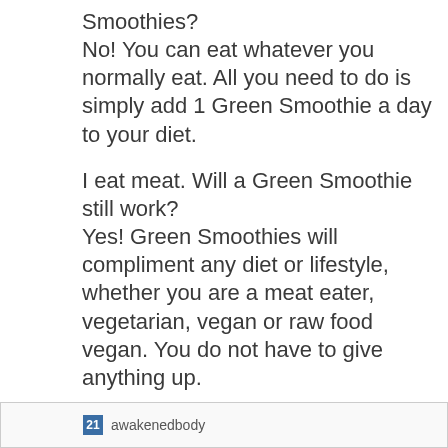Smoothies?
No! You can eat whatever you normally eat. All you need to do is simply add 1 Green Smoothie a day to your diet.
I eat meat. Will a Green Smoothie still work?
Yes! Green Smoothies will compliment any diet or lifestyle, whether you are a meat eater, vegetarian, vegan or raw food vegan. You do not have to give anything up.
Can children drink Green Smoothies?
Yes! In fact, children seem to really love Green Smoothies! It’s a fantastic breakfast for the entire family and a great start to a healthy day!
21 awakenedbody